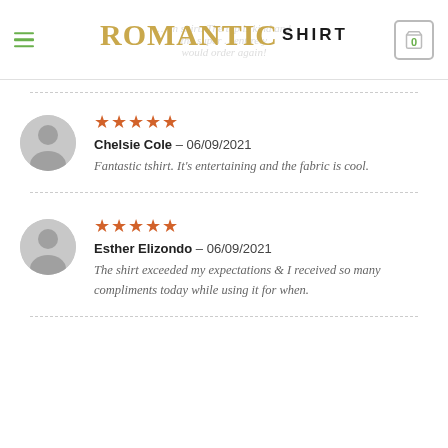ROMANTIC SHIRT
Chelsie Cole – 06/09/2021
Fantastic tshirt. It's entertaining and the fabric is cool.
Esther Elizondo – 06/09/2021
The shirt exceeded my expectations & I received so many compliments today while using it for when.